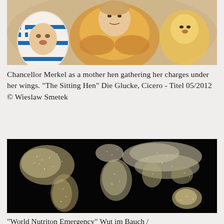[Figure (illustration): Illustration of Chancellor Merkel as a mother hen with political figures as chicks. An egg with Greek flag is visible on the left.]
Chancellor Merkel as a mother hen gathering her charges under her wings. "The Sitting Hen" Die Glucke, Cicero - Titel 05/2012 © Wieslaw Smetek
[Figure (photo): World map formed from what appears to be grains of rice or salt against a black background, representing world nutrition emergency.]
"World Nutriton Emergency" Wut im Bauch /